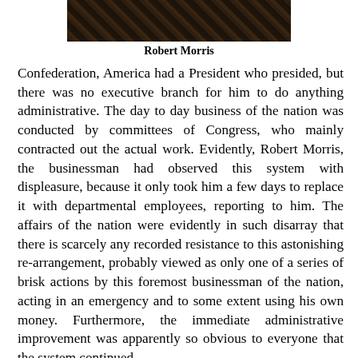[Figure (photo): Partial photograph of Robert Morris, appears dark/historical portrait]
Robert Morris
Confederation, America had a President who presided, but there was no executive branch for him to do anything administrative. The day to day business of the nation was conducted by committees of Congress, who mainly contracted out the actual work. Evidently, Robert Morris, the businessman had observed this system with displeasure, because it only took him a few days to replace it with departmental employees, reporting to him. The affairs of the nation were evidently in such disarray that there is scarcely any recorded resistance to this astonishing re-arrangement, probably viewed as only one of a series of brisk actions by this foremost businessman of the nation, acting in an emergency and to some extent using his own money. Furthermore, the immediate administrative improvement was apparently so obvious to everyone that the system continued